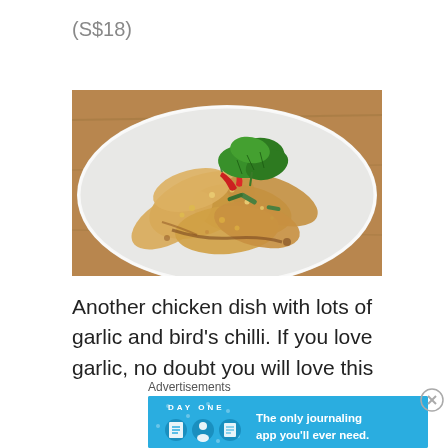(S$18)
[Figure (photo): A chicken dish with lots of garlic and bird's chilli served on a white rectangular plate, garnished with fresh coriander and red chilli peppers, placed on a wooden surface.]
Another chicken dish with lots of garlic and bird's chilli. If you love garlic, no doubt you will love this
Advertisements
[Figure (other): DayOne app advertisement banner: 'The only journaling app you'll ever need.' with app icons on a blue background.]